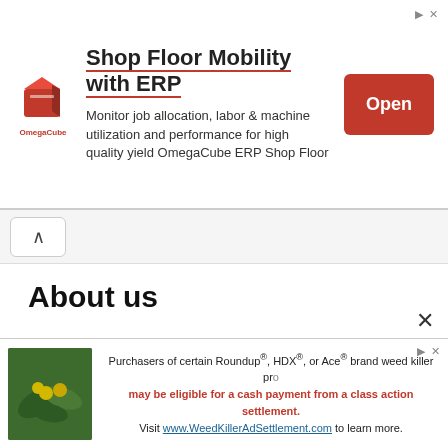[Figure (screenshot): Advertisement banner for OmegaCube ERP Shop Floor Mobility. Shows OmegaCube logo (red 3D box icon), headline 'Shop Floor Mobility with ERP', body text 'Monitor job allocation, labor & machine utilization and performance for high quality yield OmegaCube ERP Shop Floor', and a red 'Open' button.]
About us
About Us
Contact Us
DMCA
Privacy Policy
[Figure (screenshot): Advertisement banner showing a plant image with yellow berries and text about Roundup, HDX, or Ace brand weed killer class action settlement. Includes URL www.WeedKillerAdSettlement.com]